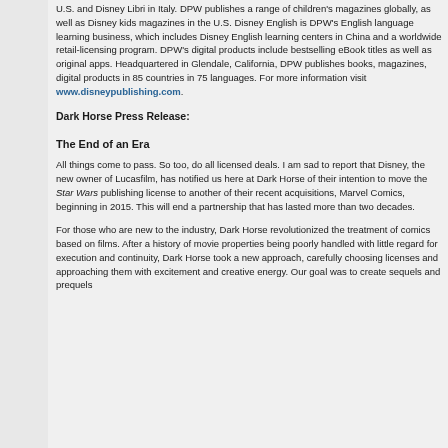U.S. and Disney Libri in Italy. DPW publishes a range of children's magazines globally, as well as Disney kids magazines in the U.S. Disney English is DPW's English language learning business, which includes Disney English learning centers in China and a worldwide retail-licensing program. DPW's digital products include bestselling eBook titles as well as original apps. Headquartered in Glendale, California, DPW publishes books, magazines, digital products in 85 countries in 75 languages. For more information visit www.disneypublishing.com.
Dark Horse Press Release:
The End of an Era
All things come to pass. So too, do all licensed deals. I am sad to report that Disney, the new owner of Lucasfilm, has notified us here at Dark Horse of their intention to move the Star Wars publishing license to another of their recent acquisitions, Marvel Comics, beginning in 2015. This will end a partnership that has lasted more than two decades.
For those who are new to the industry, Dark Horse revolutionized the treatment of comics based on films. After a history of movie properties being poorly handled with little regard for execution and continuity, Dark Horse took a new approach, carefully choosing licenses and approaching them with excitement and creative energy. Our goal was to create sequels and prequels